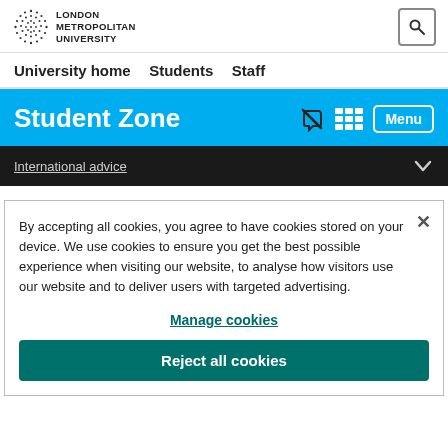[Figure (logo): London Metropolitan University logo with dot-pattern globe and text]
University home   Students   Staff
Student Zone
International advice
By accepting all cookies, you agree to have cookies stored on your device. We use cookies to ensure you get the best possible experience when visiting our website, to analyse how visitors use our website and to deliver users with targeted advertising.
Manage cookies
Reject all cookies